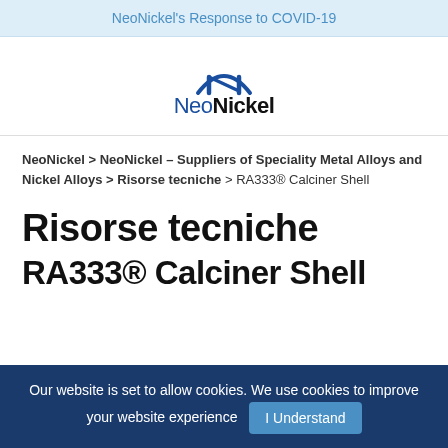NeoNickel's Response to COVID-19
[Figure (logo): NeoNickel company logo with arc and 'N' mark above the text 'NeoNickel']
NeoNickel > NeoNickel – Suppliers of Speciality Metal Alloys and Nickel Alloys > Risorse tecniche > RA333® Calciner Shell
Risorse tecniche
RA333® Calciner Shell
Our website is set to allow cookies. We use cookies to improve your website experience  I Understand